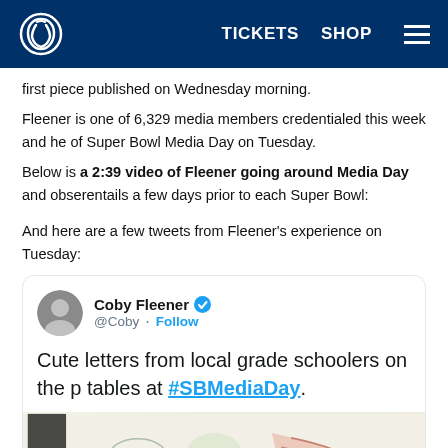TICKETS  SHOP
first piece published on Wednesday morning.
Fleener is one of 6,329 media members credentialed this week and he of Super Bowl Media Day on Tuesday.
Below is a 2:39 video of Fleener going around Media Day and observ entails a few days prior to each Super Bowl:
And here are a few tweets from Fleener's experience on Tuesday:
[Figure (screenshot): Tweet from @Coby (Coby Fleener, verified): 'Cute letters from local grade schoolers on the p tables at #SBMediaDay.' with an embedded image of colorful children's drawings/letters.]